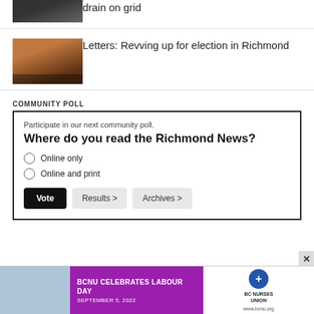[Figure (photo): Partial view of a dark venue/stage at the top of the page]
drain on grid
[Figure (photo): Council chamber with curved wooden bench and people seated]
Letters: Revving up for election in Richmond
COMMUNITY POLL
Participate in our next community poll.
Where do you read the Richmond News?
Online only
Online and print
[Figure (photo): BCNU Celebrates Labour Day advertisement banner — September 5, 2022]